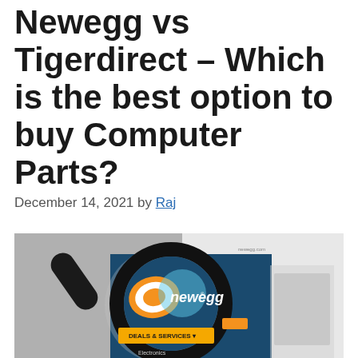Newegg vs Tigerdirect – Which is the best option to buy Computer Parts?
December 14, 2021 by Raj
[Figure (photo): A magnifying glass zooming in on the Newegg website logo on a computer screen, showing the Newegg logo with orange and white swoosh graphics and a 'DEALS & SERVICES' navigation bar on a dark blue background.]